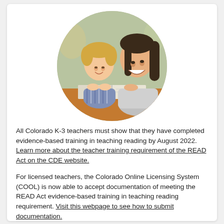[Figure (photo): Circular photo of a young blonde boy and a smiling young woman teacher looking at an open book together at a table.]
All Colorado K-3 teachers must show that they have completed evidence-based training in teaching reading by August 2022. Learn more about the teacher training requirement of the READ Act on the CDE website.
For licensed teachers, the Colorado Online Licensing System (COOL) is now able to accept documentation of meeting the READ Act evidence-based training in teaching reading requirement. Visit this webpage to see how to submit documentation.
Return to top